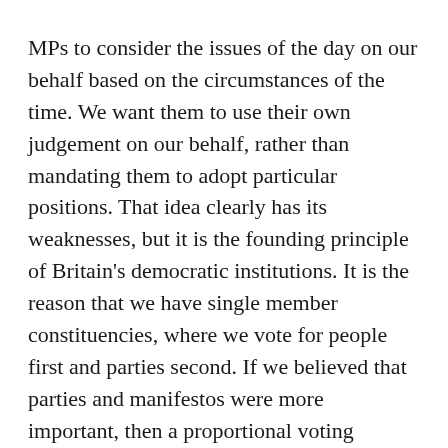MPs to consider the issues of the day on our behalf based on the circumstances of the time. We want them to use their own judgement on our behalf, rather than mandating them to adopt particular positions. That idea clearly has its weaknesses, but it is the founding principle of Britain's democratic institutions. It is the reason that we have single member constituencies, where we vote for people first and parties second. If we believed that parties and manifestos were more important, then a proportional voting system would be more appropriate – which is indeed used in Scottish and Welsh parliamentary elections.
Democracy and its institutions are a messy compromise. There is no right answer, and the best answer will only be the best answer for quite a short period of time. The test is whether the public at large think the whole process is fair, and